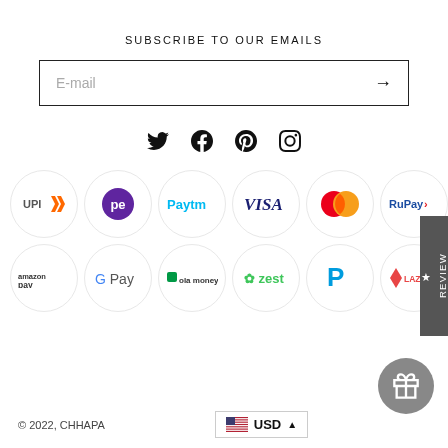SUBSCRIBE TO OUR EMAILS
E-mail →
[Figure (other): Social media icons row: Twitter, Facebook, Pinterest, Instagram]
[Figure (other): Payment method logos row 1: UPI, PhonePe, Paytm, Visa, Mastercard, RuPay, Maestro]
[Figure (other): Payment method logos row 2: Amazon Pay, Google Pay, Ola Money, Zest, PayPal, LazyPay, Net Banking]
© 2022, CHHAPA
USD